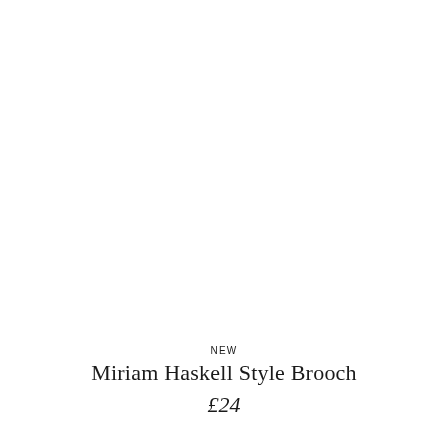[Figure (photo): White/blank product image area for Miriam Haskell Style Brooch]
NEW
Miriam Haskell Style Brooch
£24